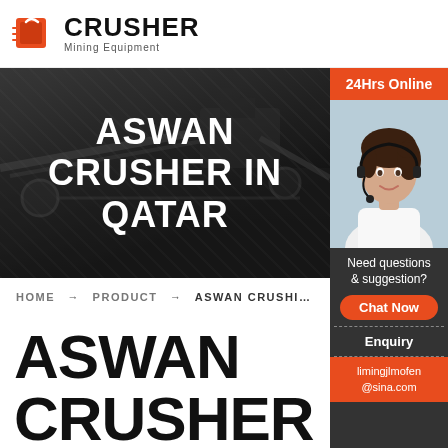CRUSHER Mining Equipment
[Figure (screenshot): Dark industrial hero banner with crushing/conveyor equipment machinery in background]
ASWAN CRUSHER IN QATAR
[Figure (photo): 24Hrs Online customer support sidebar with photo of woman wearing headset, chat button, enquiry link, and limingjlmofen@sina.com email]
HOME → PRODUCT → ASWAN CRUSHER IN QATAR
ASWAN CRUSHER IN QATAR